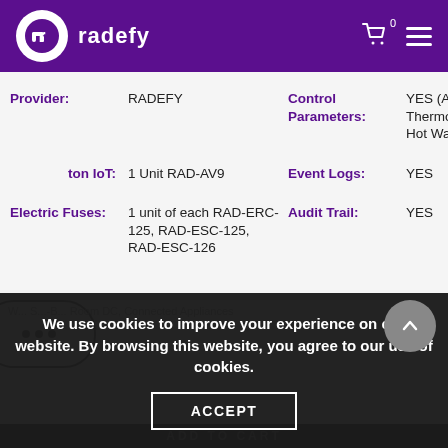radefy
| Provider: | RADEFY | Control Parameters: | YES (A/C, Thermostat, Lights, Hot Water) |
| [Automaton IoT]: | 1 Unit RAD-AV9 | Event Logs: | YES |
| Electric Fuses: | 1 unit of each RAD-ERC-125, RAD-ESC-125, RAD-ESC-126 | Audit Trail: | YES |
We use cookies to improve your experience on our website. By browsing this website, you agree to our use of cookies.
ACCEPT